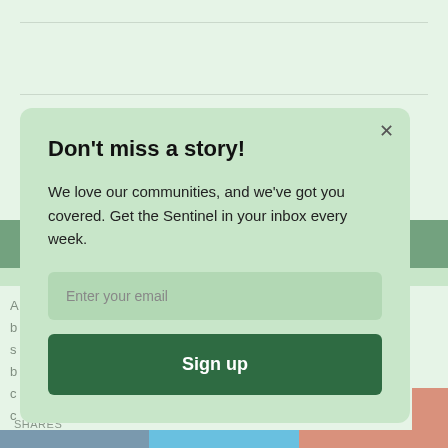[Figure (screenshot): Background webpage with horizontal divider lines, a dark green navigation bar, partial article text, social share bar, and a newsletter signup modal overlay with a light green background.]
Don't miss a story!
We love our communities, and we've got you covered. Get the Sentinel in your inbox every week.
Sign up